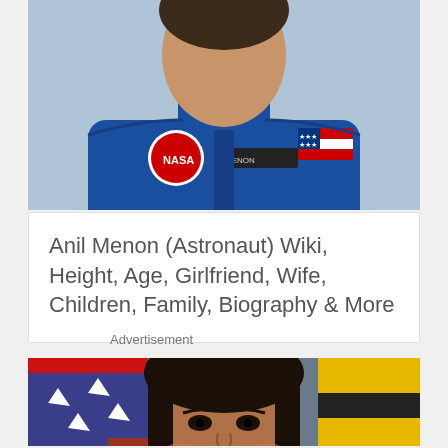[Figure (photo): A man in a blue NASA spacesuit with American flag patch on shoulder, cropped to show upper torso and head area from a low angle.]
Anil Menon (Astronaut) Wiki, Height, Age, Girlfriend, Wife, Children, Family, Biography & More
[Figure (photo): A smiling woman with dark hair in front of what appears to be an American flag and a yellow/black striped background, likely a NASA or government official photo.]
Advertisement